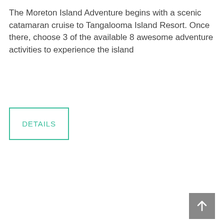The Moreton Island Adventure begins with a scenic catamaran cruise to Tangalooma Island Resort. Once there, choose 3 of the available 8 awesome adventure activities to experience the island
DETAILS
[Figure (other): Scroll-to-top button with upward arrow icon, grey background]